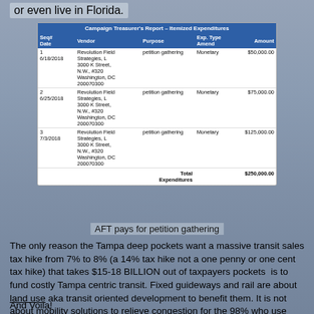or even live in Florida.
| Seq#
Date | Vendor | Purpose | Exp. Type
Amend | Amount |
| --- | --- | --- | --- | --- |
| 1
6/18/2018 | Revolution Field Strategies, L
3000 K Street, N.W., #320
Washington, DC
200070300 | petition gathering | Monetary | $50,000.00 |
| 2
6/25/2018 | Revolution Field Strategies, L
3000 K Street, N.W., #320
Washington, DC
200070300 | petition gathering | Monetary | $75,000.00 |
| 3
7/3/2018 | Revolution Field Strategies, L
3000 K Street, N.W., #320
Washington, DC
200070300 | petition gathering | Monetary | $125,000.00 |
|  |  | Total Expenditures |  | $250,000.00 |
AFT pays for petition gathering
The only reason the Tampa deep pockets want a massive transit sales tax hike from 7% to 8% (a 14% tax hike not a one penny or one cent tax hike) that takes $15-18 BILLION out of taxpayers pockets  is to fund costly Tampa centric transit. Fixed guideways and rail are about land use aka transit oriented development to benefit them. It is not about mobility solutions to relieve congestion for the 98% who use roads in Hillsborough County everyday.
And Voila!